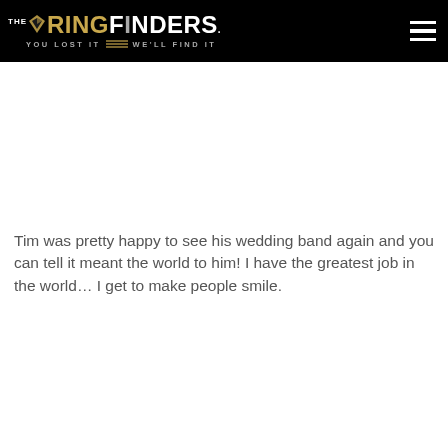THE RINGFINDERS. YOU LOST IT WE'LL FIND IT
Tim was pretty happy to see his wedding band again and you can tell it meant the world to him! I have the greatest job in the world... I get to make people smile.